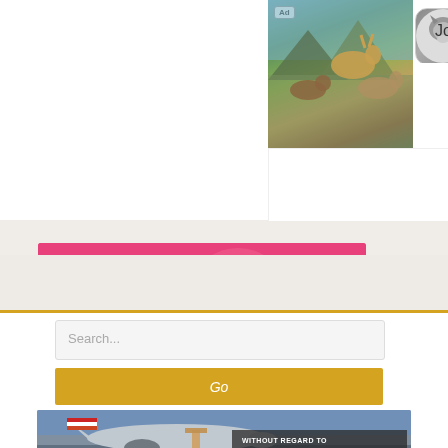[Figure (screenshot): Animal game advertisement showing wildlife scene with deer and dogs in a mountain meadow]
[Figure (screenshot): Wolf app icon]
Joi
Download
[Figure (screenshot): Pink banner advertisement featuring Nintendo Switch Joy-Con controllers]
[Figure (screenshot): Search bar with placeholder text Search...]
Search...
[Figure (screenshot): Go button in gold/amber color]
Go
[Figure (photo): Airline cargo advertisement showing freight being loaded onto an aircraft with text WITHOUT REGARD TO POLITICS, RELIGION OR ABILITY TO PAY]